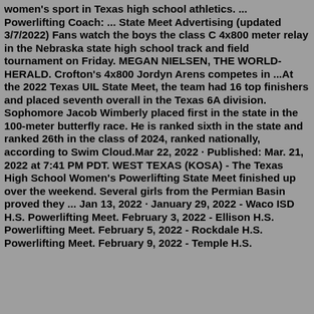women's sport in Texas high school athletics. ... Powerlifting Coach: ... State Meet Advertising (updated 3/7/2022) Fans watch the boys the class C 4x800 meter relay in the Nebraska state high school track and field tournament on Friday. MEGAN NIELSEN, THE WORLD-HERALD. Crofton's 4x800 Jordyn Arens competes in ...At the 2022 Texas UIL State Meet, the team had 16 top finishers and placed seventh overall in the Texas 6A division. Sophomore Jacob Wimberly placed first in the state in the 100-meter butterfly race. He is ranked sixth in the state and ranked 26th in the class of 2024, ranked nationally, according to Swim Cloud.Mar 22, 2022 · Published: Mar. 21, 2022 at 7:41 PM PDT. WEST TEXAS (KOSA) - The Texas High School Women's Powerlifting State Meet finished up over the weekend. Several girls from the Permian Basin proved they ... Jan 13, 2022 · January 29, 2022 - Waco ISD H.S. Powerlifting Meet. February 3, 2022 - Ellison H.S. Powerlifting Meet. February 5, 2022 - Rockdale H.S. Powerlifting Meet. February 9, 2022 - Temple H.S.